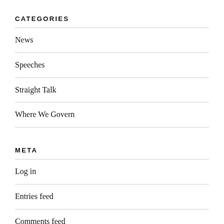CATEGORIES
News
Speeches
Straight Talk
Where We Govern
META
Log in
Entries feed
Comments feed